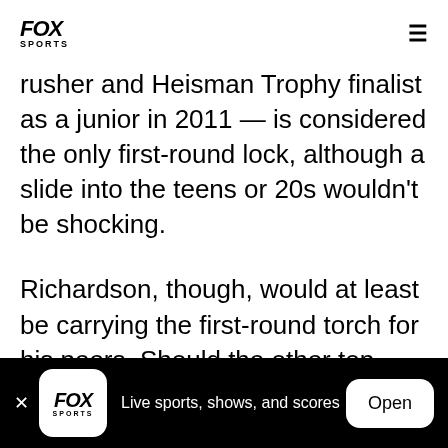FOX SPORTS
rusher and Heisman Trophy finalist as a junior in 2011 — is considered the only first-round lock, although a slide into the teens or 20s wouldn't be shocking.
Richardson, though, would at least be carrying the first-round torch for his peers. Should the other top prospects like the University of Miami's Lamar Miller and Virginia Tech's David Wilson become second-day picks as many draft analyst project, it will mark the first time since the AFL/NFL merger in 1970 that only
FOX SPORTS — Live sports, shows, and scores — Open